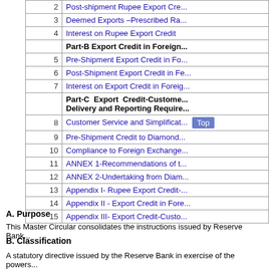|  |  |
| --- | --- |
| 2 | Post-shipment Rupee Export Cre... |
| 3 | Deemed Exports –Prescribed Ra... |
| 4 | Interest on Rupee Export Credit |
|  | Part-B Export Credit in Foreign... |
| 5 | Pre-Shipment Export Credit in Fo... |
| 6 | Post-Shipment Export Credit in Fe... |
| 7 | Interest on Export Credit in Foreig... |
|  | Part-C  Export  Credit-Custome... Delivery and Reporting Require... |
| 8 | Customer Service and Simplificat... |
| 9 | Pre-Shipment Credit to Diamond... |
| 10 | Compliance to Foreign Exchange... |
| 11 | ANNEX 1-Recommendations of t... |
| 12 | ANNEX 2-Undertaking from Diam... |
| 13 | Appendix I- Rupee Export Credit-... |
| 14 | Appendix II - Export Credit in Fore... |
| 15 | Appendix III- Export Credit-Custo... |
A. Purpose
This Master Circular consolidates the instructions issued by Reserve Bank...
B. Classification
A statutory directive issued by the Reserve Bank in exercise of the powers...